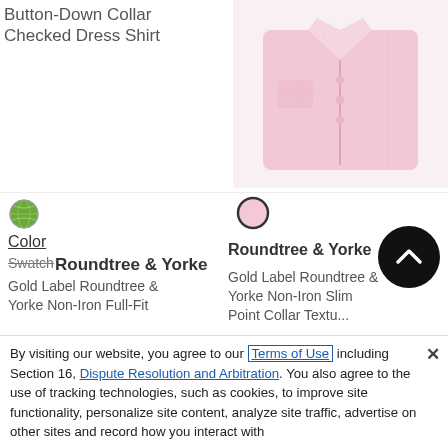Button-Down Collar Checked Dress Shirt
[Figure (photo): Folded pink checked dress shirt product photo]
[Figure (photo): Color swatch globe icon]
Color
Swatch
Roundtree & Yorke
Gold Label Roundtree & Yorke Non-Iron Full-Fit
Red
[Figure (photo): Pink circle color swatch]
Roundtree & Yorke
Gold Label Roundtree & Yorke Non-Iron Slim Point Collar Textu...
By visiting our website, you agree to our Terms of Use including Section 16, Dispute Resolution and Arbitration. You also agree to the use of tracking technologies, such as cookies, to improve site functionality, personalize site content, analyze site traffic, advertise on other sites and record how you interact with